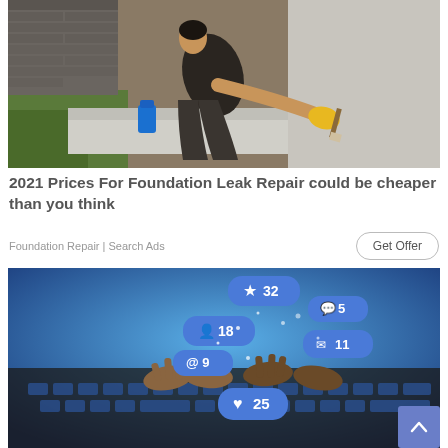[Figure (photo): Person wearing yellow gloves kneeling and applying sealant or paint to a concrete foundation exterior wall]
2021 Prices For Foundation Leak Repair could be cheaper than you think
Foundation Repair | Search Ads
[Figure (photo): Hands typing on a laptop keyboard with floating social media notification icons showing: star 32, chat bubble 5, person 18, email 11, at-sign 9, heart 25]